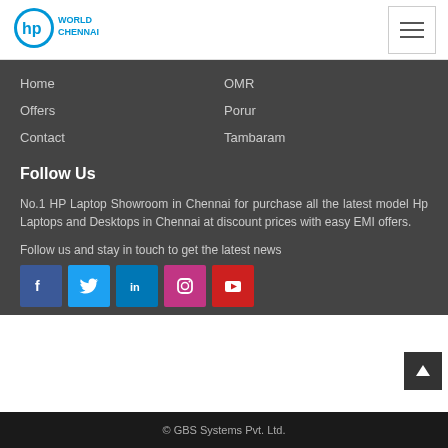[Figure (logo): HP World Chennai logo with blue HP circle and blue text 'WORLD CHENNAI']
Home
OMR
Offers
Porur
Contact
Tambaram
Follow Us
No.1 HP Laptop Showroom in Chennai for purchase all the latest model Hp Laptops and Desktops in Chennai at discount prices with easy EMI offers.
Follow us and stay in touch to get the latest news
[Figure (infographic): Social media icons: Facebook (blue), Twitter (light blue), LinkedIn (dark blue), Instagram (pink/magenta), YouTube (red)]
© GBS Systems Pvt. Ltd.